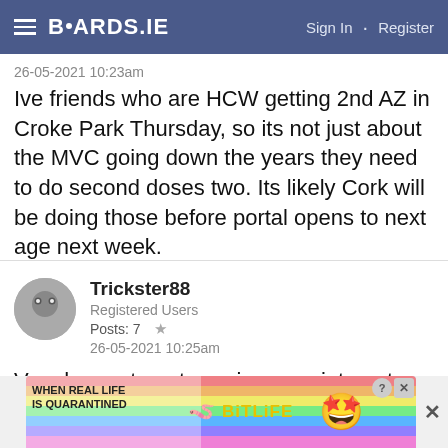BOARDS.IE  Sign In · Register
26-05-2021 10:23am
Ive friends who are HCW getting 2nd AZ in Croke Park Thursday, so its not just about the MVC going down the years they need to do second doses two. Its likely Cork will be doing those before portal opens to next age next week.
Trickster88
Registered Users
Posts: 7 ★
26-05-2021 10:25am
Very happy to get vaccine appointment and with my preferred vaccine!
[Figure (screenshot): BitLife advertisement banner: colorful rainbow background with text 'WHEN REAL LIFE IS QUARANTINED' and BitLife logo with emoji characters]